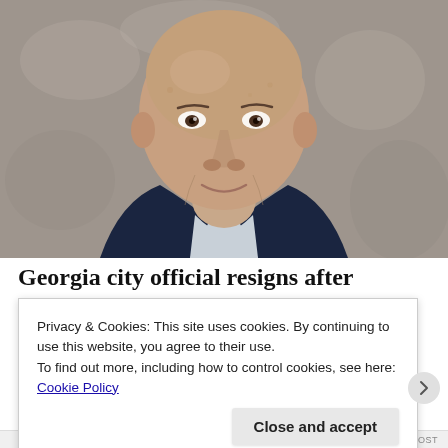[Figure (photo): Headshot portrait of an older bald man in a dark navy suit with a light blue shirt, smiling slightly, against a gray blurred background.]
Georgia city official resigns after
Privacy & Cookies: This site uses cookies. By continuing to use this website, you agree to their use.
To find out more, including how to control cookies, see here: Cookie Policy
Close and accept